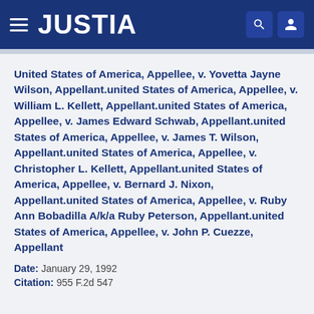JUSTIA
United States of America, Appellee, v. Yovetta Jayne Wilson, Appellant.united States of America, Appellee, v. William L. Kellett, Appellant.united States of America, Appellee, v. James Edward Schwab, Appellant.united States of America, Appellee, v. James T. Wilson, Appellant.united States of America, Appellee, v. Christopher L. Kellett, Appellant.united States of America, Appellee, v. Bernard J. Nixon, Appellant.united States of America, Appellee, v. Ruby Ann Bobadilla A/k/a Ruby Peterson, Appellant.united States of America, Appellee, v. John P. Cuezze, Appellant
Date: January 29, 1992
Citation: 955 F.2d 547